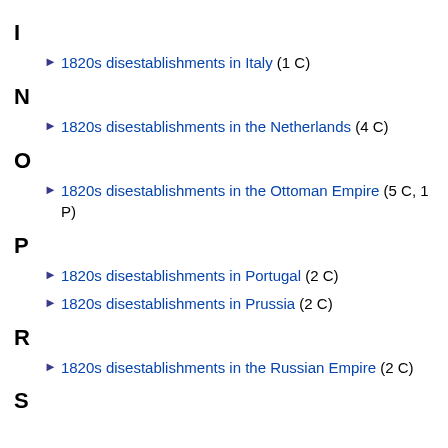I
1820s disestablishments in Italy (1 C)
N
1820s disestablishments in the Netherlands (4 C)
O
1820s disestablishments in the Ottoman Empire (5 C, 1 P)
P
1820s disestablishments in Portugal (2 C)
1820s disestablishments in Prussia (2 C)
R
1820s disestablishments in the Russian Empire (2 C)
S